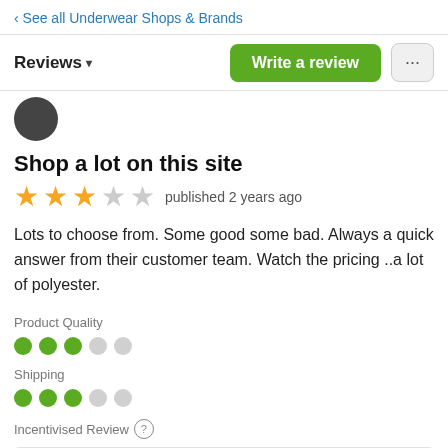‹ See all Underwear Shops & Brands
Reviews ▾
Shop a lot on this site
★★★☆☆ published 2 years ago
Lots to choose from. Some good some bad. Always a quick answer from their customer team. Watch the pricing ..a lot of polyester.
Product Quality
●●●○○ (3/5)
Shipping
●●●○○ (3/5)
Incentivised Review (?)
Step One Bamboo Underwear — Ad — 4.7 from 13,807 reviews